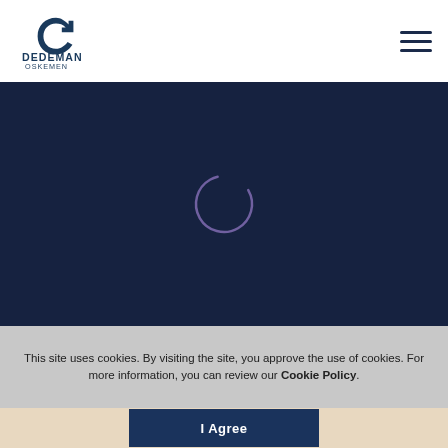[Figure (logo): Dedeman Oskemen Tavros hotel logo — circular arrow icon above text DEDEMAN OSKEMEN Tavros]
[Figure (screenshot): Dark navy blue loading screen with a circular spinner/loading indicator in the center]
This site uses cookies. By visiting the site, you approve the use of cookies. For more information, you can review our Cookie Policy.
I Agree